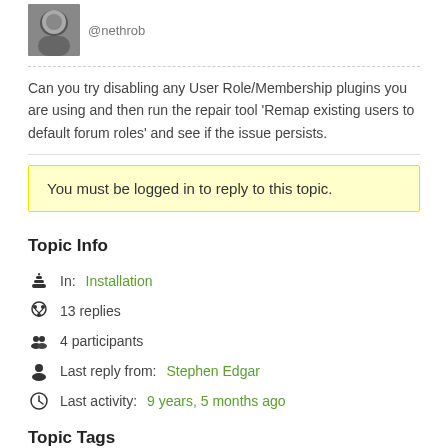[Figure (photo): User avatar photo (grayscale portrait) with @nethrob username]
Can you try disabling any User Role/Membership plugins you are using and then run the repair tool 'Remap existing users to default forum roles' and see if the issue persists.
You must be logged in to reply to this topic.
Topic Info
In: Installation
13 replies
4 participants
Last reply from: Stephen Edgar
Last activity: 9 years, 5 months ago
Topic Tags